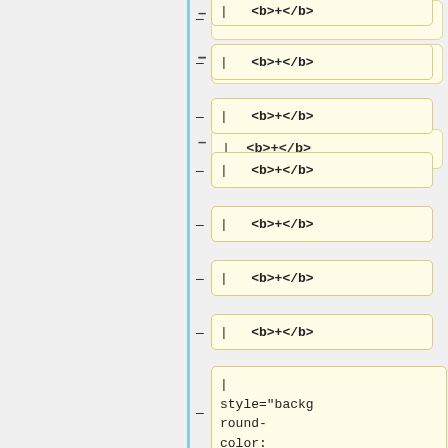| <b>+</b>
| <b>+</b>
| <b>+</b>
| <b>+</b>
| <b>+</b>
| <b>+</b>
| <b>+</b>
| <b>+</b>
| style="background-color: #F99;* " | <b> - </b>